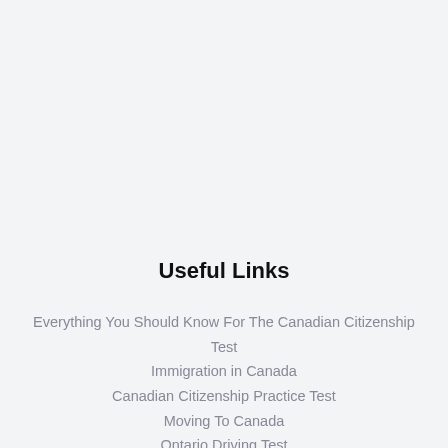Useful Links
Everything You Should Know For The Canadian Citizenship Test
Immigration in Canada
Canadian Citizenship Practice Test
Moving To Canada
Ontario Driving Test
G1 Driving Test